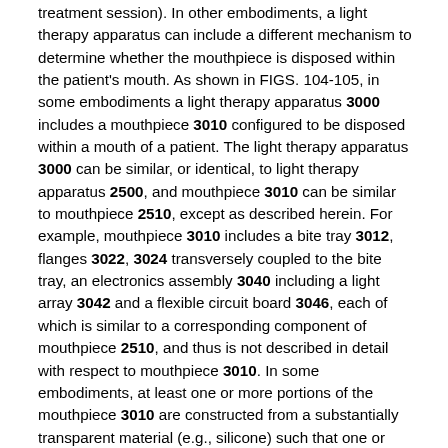treatment session). In other embodiments, a light therapy apparatus can include a different mechanism to determine whether the mouthpiece is disposed within the patient's mouth. As shown in FIGS. 104-105, in some embodiments a light therapy apparatus 3000 includes a mouthpiece 3010 configured to be disposed within a mouth of a patient. The light therapy apparatus 3000 can be similar, or identical, to light therapy apparatus 2500, and mouthpiece 3010 can be similar to mouthpiece 2510, except as described herein. For example, mouthpiece 3010 includes a bite tray 3012, flanges 3022, 3024 transversely coupled to the bite tray, an electronics assembly 3040 including a light array 3042 and a flexible circuit board 3046, each of which is similar to a corresponding component of mouthpiece 2510, and thus is not described in detail with respect to mouthpiece 3010. In some embodiments, at least one or more portions of the mouthpiece 3010 are constructed from a substantially transparent material (e.g., silicone) such that one or more components embedded within the mouthpiece 3010 are visible through the mouthpiece 3010. Thus, for purposes of illustration, portions of the mouthpiece 3010, including portions of the first flange 3022, the second flange 3024 and the bite tray 3012 are shown as being transparent in